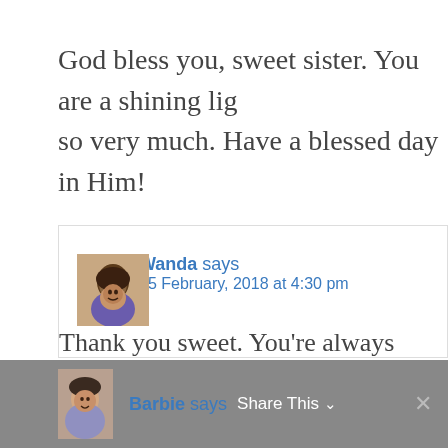God bless you, sweet sister. You are a shining lig… so very much. Have a blessed day in Him!
Wanda says
25 February, 2018 at 4:30 pm
Thank you sweet. You're always such a swee…
Barbie says